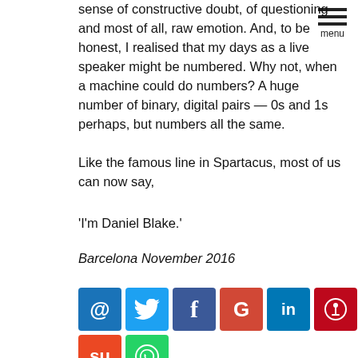sense of constructive doubt, of questioning and most of all, raw emotion. And, to be honest, I realised that my days as a live speaker might be numbered. Why not, when a machine could do the numbers? A huge number of binary, digital pairs — 0s and 1s perhaps, but numbers all the same.
Like the famous line in Spartacus, most of us can now say,
'I'm Daniel Blake.'
Barcelona November 2016
[Figure (infographic): Row of social media sharing icons: email (@), Twitter (bird), Facebook (f), Google (G), LinkedIn (in), Pinterest (p), StumbleUpon (su), WhatsApp (phone)]
Also by Nigel